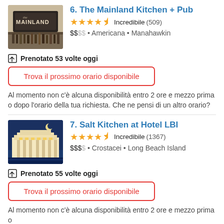6. The Mainland Kitchen + Pub
★★★★½ Incredibile (509)
$$SS • Americana • Manahawkin
⬆ Prenotato 53 volte oggi
Trova il prossimo orario disponibile
Al momento non c'è alcuna disponibilità entro 2 ore e mezzo prima o dopo l'orario della tua richiesta. Che ne pensi di un altro orario?
7. Salt Kitchen at Hotel LBI
★★★★½ Incredibile (1367)
$$$$S • Crostacei • Long Beach Island
⬆ Prenotato 55 volte oggi
Trova il prossimo orario disponibile
Al momento non c'è alcuna disponibilità entro 2 ore e mezzo prima o